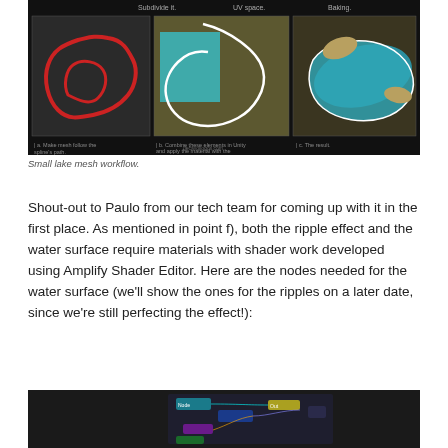[Figure (screenshot): Screenshot showing small lake mesh workflow in a game engine. Three panels: left panel shows a red track/lake outline on dark background, middle panel shows a teal rectangle shape with spline path in UV space, right panel shows a 3D rendered view of a teal lake shape. Below the panels are captions: 'a. Make mesh follow the spline's path.', 'b. Combine these elements in Unity and apply the material with the shader dark magic prepared in ASE.', 'c. The result.' Website decayoliogos.com shown at bottom.]
Small lake mesh workflow.
Shout-out to Paulo from our tech team for coming up with it in the first place. As mentioned in point f), both the ripple effect and the water surface require materials with shader work developed using Amplify Shader Editor. Here are the nodes needed for the water surface (we'll show the ones for the ripples on a later date, since we're still perfecting the effect!):
[Figure (screenshot): Partial screenshot of Amplify Shader Editor node graph showing shader nodes for water surface effect.]